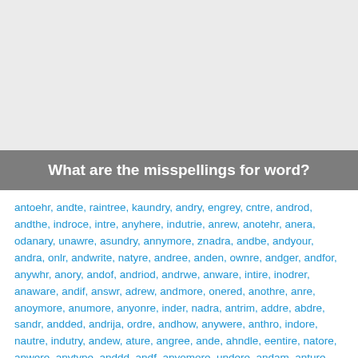What are the misspellings for word?
antoehr, andte, raintree, kaundry, andry, engrey, cntre, androd, andthe, indroce, intre, anyhere, indutrie, anrew, anotehr, anera, odanary, unawre, asundry, annymore, znadra, andbe, andyour, andra, onlr, andwrite, natyre, andree, anden, ownre, andger, andfor, anywhr, anory, andof, andriod, andrwe, anware, intire, inodrer, anaware, andif, answr, adrew, andmore, onered, anothre, anre, anoymore, anumore, anyonre, inder, nadra, antrim, addre, abdre, sandr, andded, andrija, ordre, andhow, anywere, anthro, indore, nautre, indutry, andew, ature, angree, ande, ahndle, eentire, natore, anwere, anytype, anddd, andf, anyomore, undere, andam, anture, anderw, andorder, aounrd, anrea, cantre, angrey, quandery, indurtry, awnry, ancore, adehre, anery, udere, ander's, anothrer, laundre, answre, underc, untra.